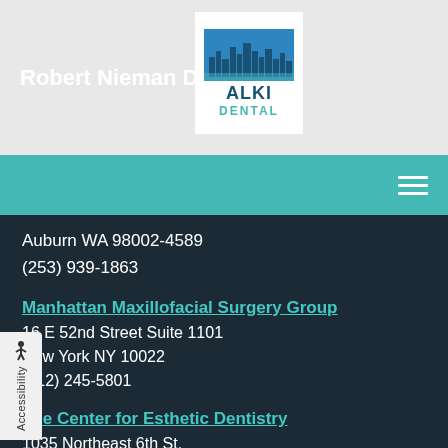Robert Nieman DDS
[Figure (logo): Alki Dental logo with skyline illustration, text ALKI DENTAL]
Auburn WA 98002-4589
(253) 939-1863
Manhattan Maxillofacial Surgery Group
16 E 52nd Street Suite 1101
New York NY 10022
(212) 245-5801
The Center for Esthetic Dentistry
1035 Northeast 6th St.
Grants Pass OR 97526-1298